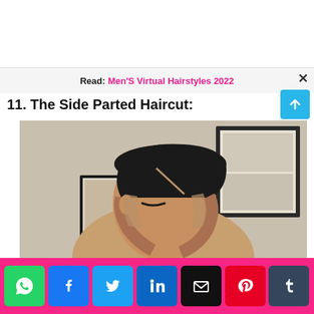Read: Men'S Virtual Hairstyles 2022
11. The Side Parted Haircut:
[Figure (photo): Photo of a man with a side parted haircut showing shaved sides and slicked-back top, with barbershop posters in background]
[Figure (other): Social media sharing bar with WhatsApp, Facebook, Twitter, LinkedIn, Email, Pinterest, Tumblr buttons on a pink background]